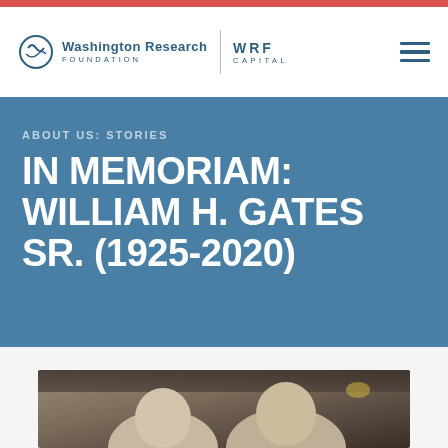Washington Research Foundation | WRF Capital
ABOUT US: STORIES
IN MEMORIAM: WILLIAM H. GATES SR. (1925-2020)
[Figure (photo): A photograph showing two older men, partially visible from the top of the frame, appearing to be indoors at an event.]